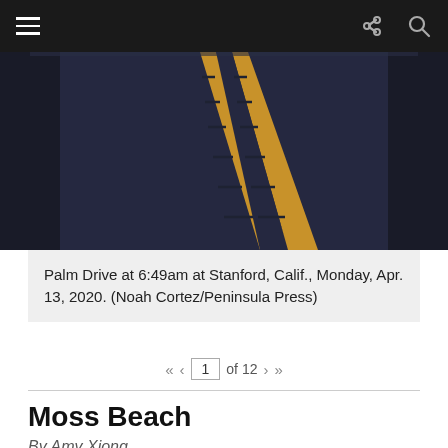Navigation bar with hamburger menu, share and search icons
[Figure (photo): Road photo showing Palm Drive at Stanford — dark asphalt with double yellow center lines viewed from low angle, taken at 6:49am on Monday Apr. 13, 2020 by Noah Cortez / Peninsula Press]
Palm Drive at 6:49am at Stanford, Calif., Monday, Apr. 13, 2020. (Noah Cortez/Peninsula Press)
1 of 12
Moss Beach
By Amy Xiong
Amy Xiong, a first year Master's Student in Design Impact at Stanford University, captures the following photos. She is currently sheltering in place in Moss